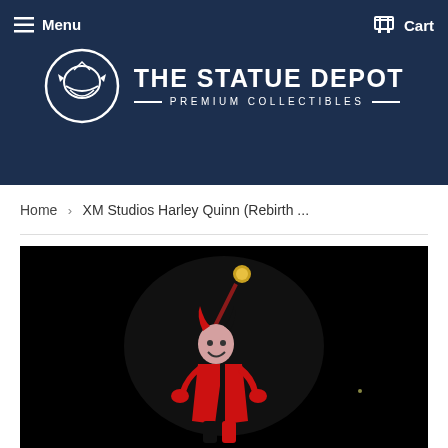Menu | Cart
[Figure (logo): The Statue Depot logo — circular emblem with stylized helmet icon, beside bold text 'THE STATUE DEPOT' and subtitle '— PREMIUM COLLECTIBLES —']
Home › XM Studios Harley Quinn (Rebirth ...
[Figure (photo): Dark background product photo of an XM Studios Harley Quinn (Rebirth) collectible statue figure, showing a female character in red and black jester costume holding a mallet, with a gold bell visible at the top of the mallet.]